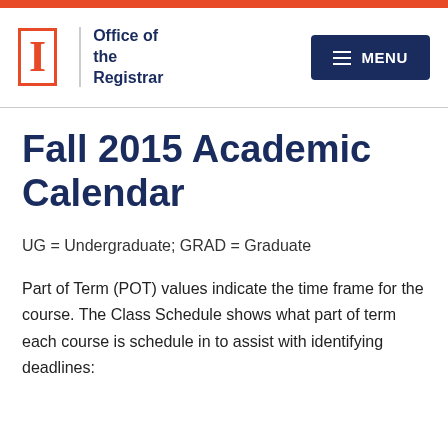Office of the Registrar — MENU (navigation header with University of Illinois logo)
Fall 2015 Academic Calendar
UG = Undergraduate; GRAD = Graduate
Part of Term (POT) values indicate the time frame for the course.  The Class Schedule shows what part of term each course is schedule in to assist with identifying deadlines: